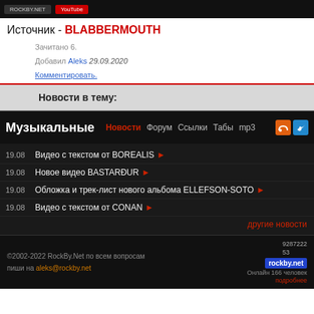Музыкальные новости rockby.net
Источник - BLABBERMOUTH
Зачитано 6.
Добавил Aleks 29.09.2020
Комментировать.
Новости в тему:
19.08  Видео с текстом от BOREALIS
19.08  Новое видео BASTAR&#208;UR
19.08  Обложка и трек-лист нового альбома ELLEFSON-SOTO
19.08  Видео с текстом от CONAN
другие новости
©2002-2022 RockBy.Net по всем вопросам пиши на aleks@rockby.net
928722253
rockby.net
Онлайн 166 человек
подробнее